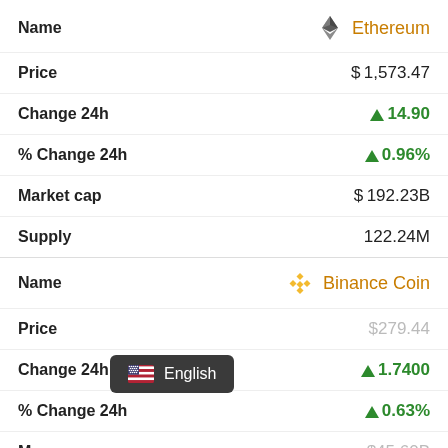| Field | Value |
| --- | --- |
| Name | Ethereum |
| Price | $1,573.47 |
| Change 24h | ↑14.90 |
| % Change 24h | ↑0.96% |
| Market cap | $192.23B |
| Supply | 122.24M |
| Field | Value |
| --- | --- |
| Name | Binance Coin |
| Price | $279.44 |
| Change 24h | ↑1.7400 |
| % Change 24h | ↑0.63% |
| Market cap | $45.60B |
English